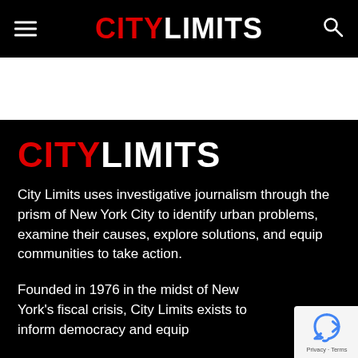CITY LIMITS
[Figure (logo): City Limits logo in white content section with CITY in red and LIMITS in white, bold sans-serif]
City Limits uses investigative journalism through the prism of New York City to identify urban problems, examine their causes, explore solutions, and equip communities to take action.
Founded in 1976 in the midst of New York's fiscal crisis, City Limits exists to inform democracy and equip cities to...